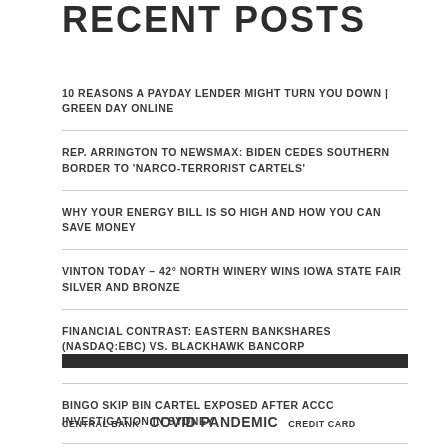RECENT POSTS
10 REASONS A PAYDAY LENDER MIGHT TURN YOU DOWN | GREEN DAY ONLINE
REP. ARRINGTON TO NEWSMAX: BIDEN CEDES SOUTHERN BORDER TO 'NARCO-TERRORIST CARTELS'
WHY YOUR ENERGY BILL IS SO HIGH AND HOW YOU CAN SAVE MONEY
VINTON TODAY – 42° NORTH WINERY WINS IOWA STATE FAIR SILVER AND BRONZE
FINANCIAL CONTRAST: EASTERN BANKSHARES (NASDAQ:EBC) VS. BLACKHAWK BANCORP (OTCMKTS:BHWB)
BINGO SKIP BIN CARTEL EXPOSED AFTER ACCC INVESTIGATION IN SYDNEY
CENTRAL BANK  COVID PANDEMIC  CREDIT CARD